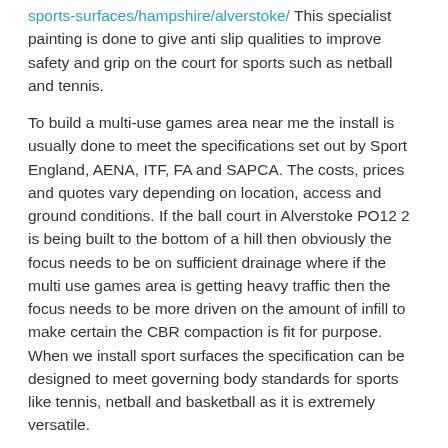sports-surfaces/hampshire/alverstoke/ This specialist painting is done to give anti slip qualities to improve safety and grip on the court for sports such as netball and tennis.
To build a multi-use games area near me the install is usually done to meet the specifications set out by Sport England, AENA, ITF, FA and SAPCA. The costs, prices and quotes vary depending on location, access and ground conditions. If the ball court in Alverstoke PO12 2 is being built to the bottom of a hill then obviously the focus needs to be on sufficient drainage where if the multi use games area is getting heavy traffic then the focus needs to be more driven on the amount of infill to make certain the CBR compaction is fit for purpose. When we install sport surfaces the specification can be designed to meet governing body standards for sports like tennis, netball and basketball as it is extremely versatile.
Multi-Sport Building Contractors Near Me
Multi-Sport building contractors near me are specialists in the field of MUGAs and multiple use games areas so please make sure that you check the existing company out to make sure they are